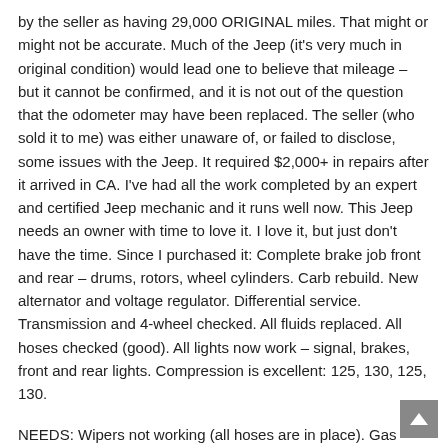by the seller as having 29,000 ORIGINAL miles. That might or might not be accurate. Much of the Jeep (it's very much in original condition) would lead one to believe that mileage – but it cannot be confirmed, and it is not out of the question that the odometer may have been replaced. The seller (who sold it to me) was either unaware of, or failed to disclose, some issues with the Jeep. It required $2,000+ in repairs after it arrived in CA. I've had all the work completed by an expert and certified Jeep mechanic and it runs well now. This Jeep needs an owner with time to love it. I love it, but just don't have the time. Since I purchased it: Complete brake job front and rear – drums, rotors, wheel cylinders. Carb rebuild. New alternator and voltage regulator. Differential service. Transmission and 4-wheel checked. All fluids replaced. All hoses checked (good). All lights now work – signal, brakes, front and rear lights. Compression is excellent: 125, 130, 125, 130.
NEEDS: Wipers not working (all hoses are in place). Gas gauge half-works (enough to keep you out of trouble). Temp gauge doesn't seem to work. Heater not working. There's some rust underneath, as this Jeep is a 1965. The floorpans at the front seats look liked they've been replaced. The fender wells are